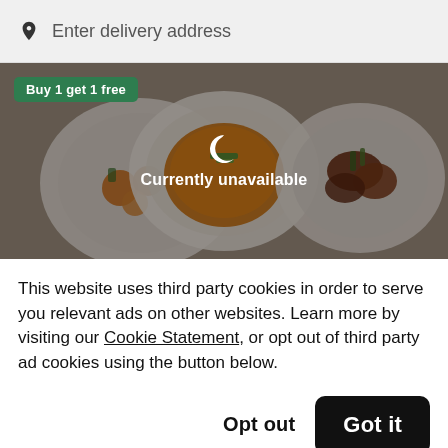Enter delivery address
[Figure (photo): Food delivery app banner showing three dishes on white plates — roasted vegetables, orange soup with garnish, and meat with herbs. A green 'Buy 1 get 1 free' badge is in the top left. A dark overlay covers the image with a moon icon and text 'Currently unavailable'.]
This website uses third party cookies in order to serve you relevant ads on other websites. Learn more by visiting our Cookie Statement, or opt out of third party ad cookies using the button below.
Opt out
Got it